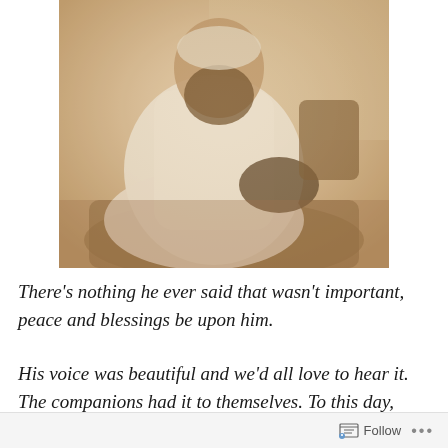[Figure (photo): Sepia-toned photograph of a bearded man wearing a white thobe/robe, seated on a sofa or chair, slightly blurred, holding something in his right hand.]
There’s nothing he ever said that wasn’t important, peace and blessings be upon him.
His voice was beautiful and we’d all love to hear it. The companions had it to themselves. To this day, people still
Follow •••